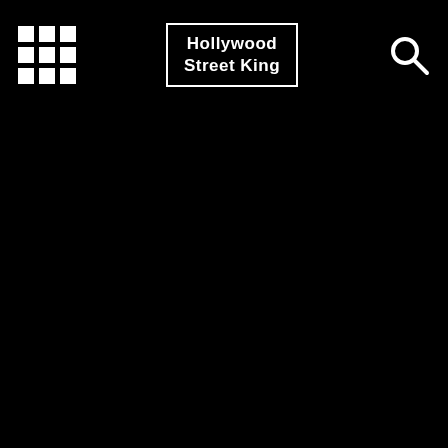[Figure (screenshot): Mobile website header/navbar for 'Hollywood Street King' on a black background, featuring a 3x3 grid menu icon on the left, a bordered text logo 'Hollywood Street King' in the center, and a search magnifying glass icon on the right.]